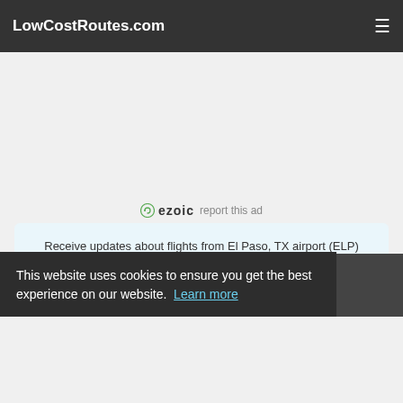LowCostRoutes.com
[Figure (logo): Ezoic logo with 'report this ad' text]
Receive updates about flights from El Paso, TX airport (ELP)
Email
Subscribe to our newsletter
This website uses cookies to ensure you get the best experience on our website.  Learn more